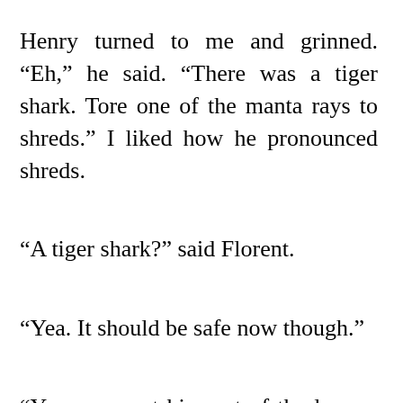Henry turned to me and grinned. “Eh,” he said. “There was a tiger shark. Tore one of the manta rays to shreds.” I liked how he pronounced shreds.
“A tiger shark?” said Florent.
“Yea. It should be safe now though.”
“You guys got him out of the lagoon then?” asked Rob.